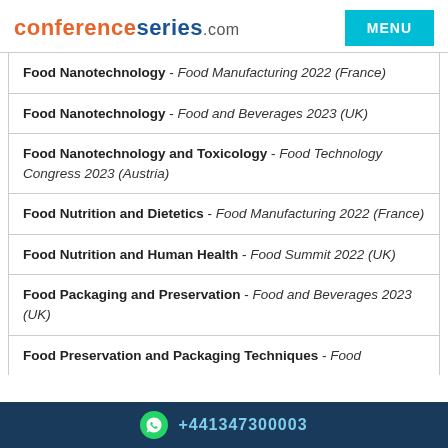conferenceseries.com
Food Nanotechnology - Food Manufacturing 2022 (France)
Food Nanotechnology - Food and Beverages 2023 (UK)
Food Nanotechnology and Toxicology - Food Technology Congress 2023 (Austria)
Food Nutrition and Dietetics - Food Manufacturing 2022 (France)
Food Nutrition and Human Health - Food Summit 2022 (UK)
Food Packaging and Preservation - Food and Beverages 2023 (UK)
Food Preservation and Packaging Techniques - Food
+441347300003